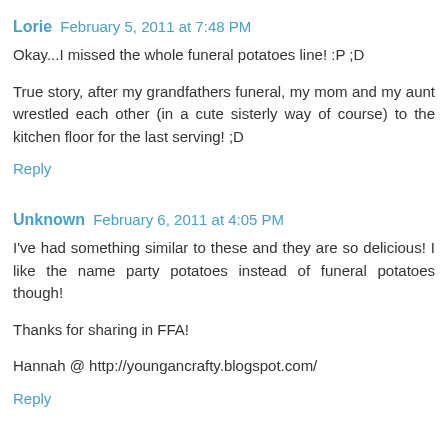Lorie  February 5, 2011 at 7:48 PM
Okay...I missed the whole funeral potatoes line! :P ;D
True story, after my grandfathers funeral, my mom and my aunt wrestled each other (in a cute sisterly way of course) to the kitchen floor for the last serving! ;D
Reply
Unknown  February 6, 2011 at 4:05 PM
I've had something similar to these and they are so delicious! I like the name party potatoes instead of funeral potatoes though!
Thanks for sharing in FFA!
Hannah @ http://youngancrafty.blogspot.com/
Reply